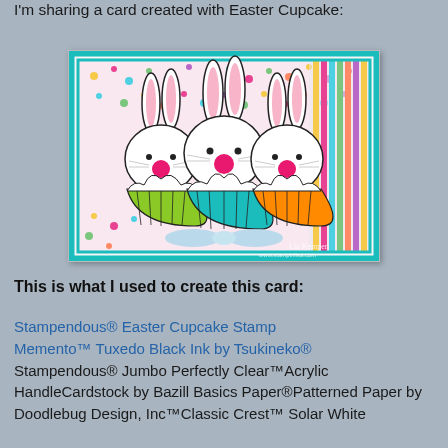I'm sharing a card created with Easter Cupcake:
[Figure (photo): A handmade Easter card featuring three bunny cupcakes with pink ears and noses on a colorful patterned background with teal border, decorated with a light blue bow.]
This is what I used to create this card:
Stampendous® Easter Cupcake Stamp Memento™ Tuxedo Black Ink by Tsukineko® Stampendous® Jumbo Perfectly Clear™Acrylic HandleCardstock by Bazill Basics Paper®Patterned Paper by Doodlebug Design, Inc™Classic Crest™ Solar White